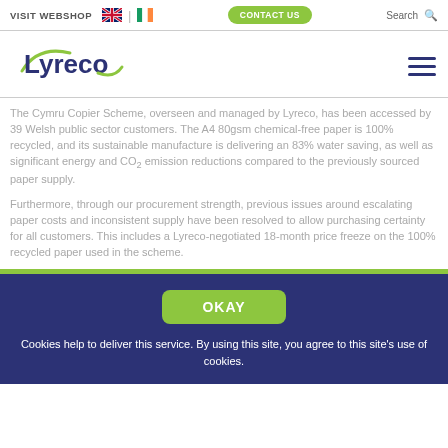VISIT WEBSHOP | CONTACT US | Search
[Figure (logo): Lyreco logo with green swoosh]
The Cymru Copier Scheme, overseen and managed by Lyreco, has been accessed by 39 Welsh public sector customers. The A4 80gsm chemical-free paper is 100% recycled, and its sustainable manufacture is delivering an 83% water saving, as well as significant energy and CO₂ emission reductions compared to the previously sourced paper supply.
Furthermore, through our procurement strength, previous issues around escalating paper costs and inconsistent supply have been resolved to allow purchasing certainty for all customers. This includes a Lyreco-negotiated 18-month price freeze on the 100% recycled paper used in the scheme.
OKAY
Cookies help to deliver this service. By using this site, you agree to this site's use of cookies.